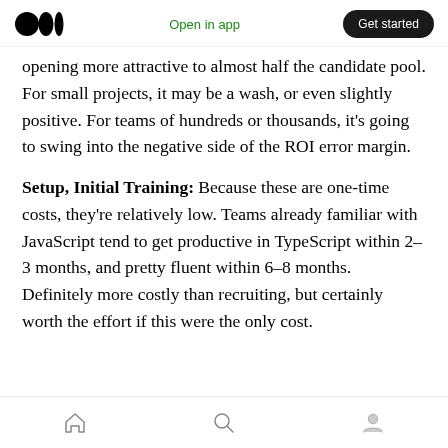Medium logo | Open in app | Get started
opening more attractive to almost half the candidate pool. For small projects, it may be a wash, or even slightly positive. For teams of hundreds or thousands, it's going to swing into the negative side of the ROI error margin.
Setup, Initial Training: Because these are one-time costs, they're relatively low. Teams already familiar with JavaScript tend to get productive in TypeScript within 2–3 months, and pretty fluent within 6–8 months. Definitely more costly than recruiting, but certainly worth the effort if this were the only cost.
Home | Search | Profile